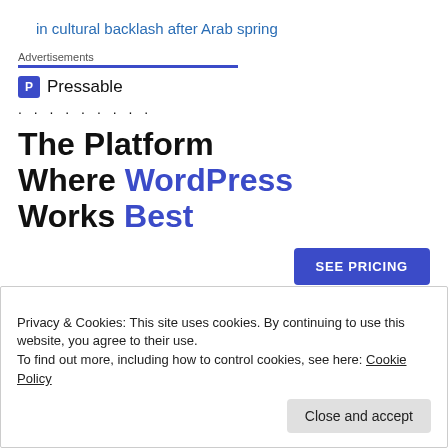in cultural backlash after Arab spring
Advertisements
[Figure (logo): Pressable logo with blue square icon containing letter P and text 'Pressable']
. . . . . . . . .
The Platform Where WordPress Works Best
[Figure (other): SEE PRICING button in blue]
Privacy & Cookies: This site uses cookies. By continuing to use this website, you agree to their use.
To find out more, including how to control cookies, see here: Cookie Policy
Close and accept